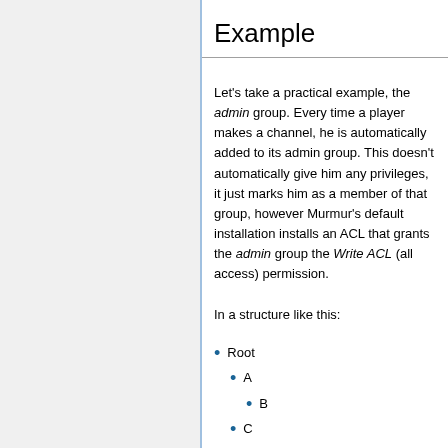Example
Let's take a practical example, the admin group. Every time a player makes a channel, he is automatically added to its admin group. This doesn't automatically give him any privileges, it just marks him as a member of that group, however Murmur's default installation installs an ACL that grants the admin group the Write ACL (all access) permission.
In a structure like this:
Root
A
B
C